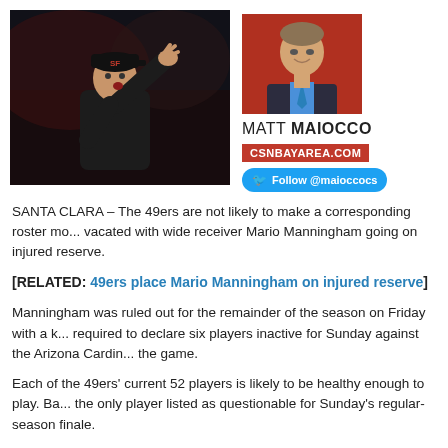[Figure (photo): NFL coach gesturing with right arm raised, wearing black cap and black shirt, dark stadium background]
[Figure (photo): Headshot of Matt Maiocco, smiling man in blue shirt and jacket, against red background]
MATT MAIOCCO
CSNBAYAREA.COM
Follow @maioccocs
SANTA CLARA – The 49ers are not likely to make a corresponding roster mo... vacated with wide receiver Mario Manningham going on injured reserve.
[RELATED: 49ers place Mario Manningham on injured reserve]
Manningham was ruled out for the remainder of the season on Friday with a k... required to declare six players inactive for Sunday against the Arizona Cardin... the game.
Each of the 49ers' current 52 players is likely to be healthy enough to play. Ba... the only player listed as questionable for Sunday's regular-season finale.
49ers status report
Out